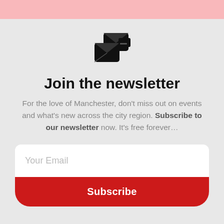[Figure (illustration): Email/newsletter icon: two overlapping envelope and card icons in black]
Join the newsletter
For the love of Manchester, don't miss out on events and what's new across the city region. Subscribe to our newsletter now. It's free forever…